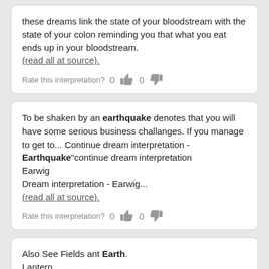these dreams link the state of your bloodstream with the state of your colon reminding you that what you eat ends up in your bloodstream. (read all at source).
Rate this interpretation? 0 [thumbs up] 0 [thumbs down]
To be shaken by an earthquake denotes that you will have some serious business challanges. If you manage to get to... Continue dream interpretation - Earthquake"continue dream interpretation
Earwig
Dream interpretation - Earwig...
(read all at source).
Rate this interpretation? 0 [thumbs up] 0 [thumbs down]
Also See Fields ant Earth.
Lantern
To dream of seeing a lantern going before you in the darkness, signifies